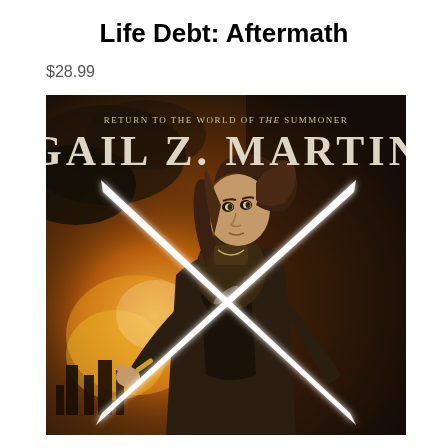Life Debt: Aftermath
$28.99
[Figure (illustration): Book cover for 'Life Debt: Aftermath' by Gail Z. Martin. Fantasy artwork showing a young man with long flowing dark hair wielding two swords. He wears a dark coat and stands in front of a dramatic scene with fire and explosions in a city. The cover text reads 'RETURN TO THE WORLD OF THE SUMMONER' and 'GAIL Z. MARTIN'.]